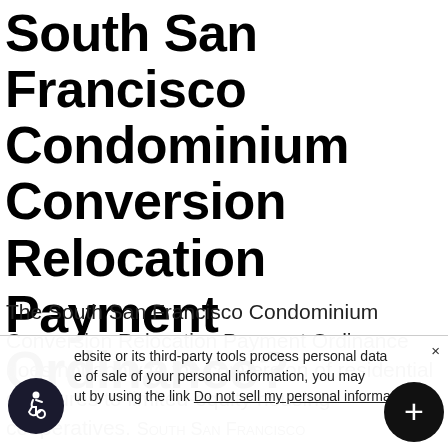South San Francisco Condominium Conversion Relocation Payment Ordinance?
The South San Francisco Condominium Conversion Relocation Payment Ordinance does not apply to the conversion of residential structures to limited-equity housing cooperatives. South San Francisco...
ebsite or its third-party tools process personal data of sale of your personal information, you may opt by using the link Do not sell my personal information